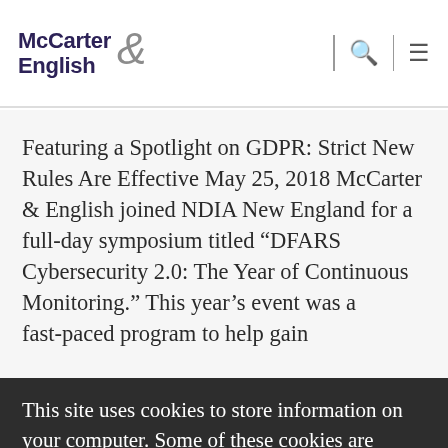McCarter & English
Featuring a Spotlight on GDPR: Strict New Rules Are Effective May 25, 2018 McCarter & English joined NDIA New England for a full-day symposium titled “DFARS Cybersecurity 2.0: The Year of Continuous Monitoring.” This year’s event was a fast-paced program to help gain
This site uses cookies to store information on your computer. Some of these cookies are essential, while others help us to improve your experience by providing insights into how the site is being used. Click Accept to continue using the site with recommended settings, or choose